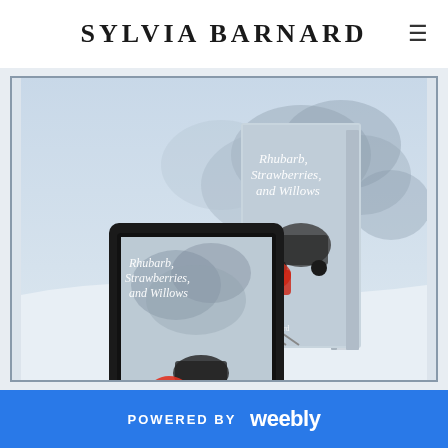SYLVIA BARNARD
[Figure (photo): Product photo showing two copies of the book 'Rhubarb, Strawberries, and Willows' by Sylvia Barnard — one displayed on a Kindle e-reader and one as a physical hardcover book. The book cover shows a figure in a red coat standing before a steam train in a snowy, misty scene. The title is written in white cursive lettering.]
POWERED BY weebly